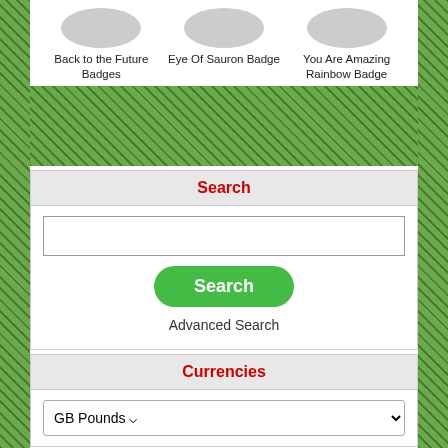Back to the Future Badges
Eye Of Sauron Badge
You Are Amazing Rainbow Badge
Search
Advanced Search
Currencies
GB Pounds
Privacy & GDPR | Subscribe to our Newsletter
Koolbadges - Creators & Retailers of custom 25mm Button Badges. Hand made in the UK using UK Sourced hand presses & materials. A Manchester, England Based company who offer worldwide delivery on all badge orders.